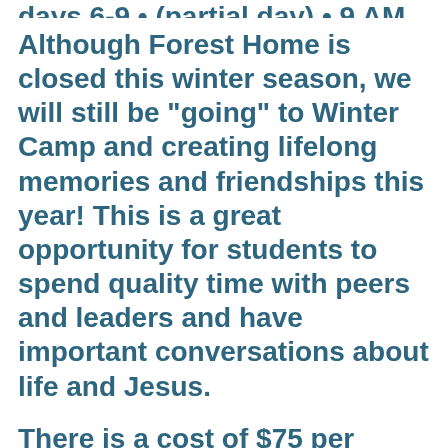Although Forest Home is closed this winter season, we will still be “going” to Winter Camp and creating lifelong memories and friendships this year! This is a great opportunity for students to spend quality time with peers and leaders and have important conversations about life and Jesus.
There is a cost of $75 per student which includes two dinners, a sweatshirt and also helps us cover